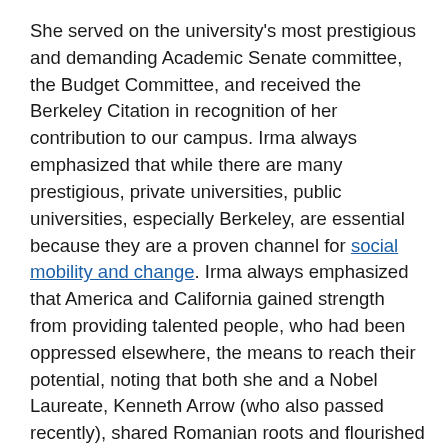She served on the university's most prestigious and demanding Academic Senate committee, the Budget Committee, and received the Berkeley Citation in recognition of her contribution to our campus. Irma always emphasized that while there are many prestigious, private universities, public universities, especially Berkeley, are essential because they are a proven channel for social mobility and change. Irma always emphasized that America and California gained strength from providing talented people, who had been oppressed elsewhere, the means to reach their potential, noting that both she and a Nobel Laureate, Kenneth Arrow (who also passed recently), shared Romanian roots and flourished here. Indeed Irma, Arrow and many others were the products of public institutions. Irma's work has made economic analysis fuller, more inclusive, and provides a tool for social transformation. Her life was the very embodiment of social mobility and equal opportunity, and an example we can all aspire to.